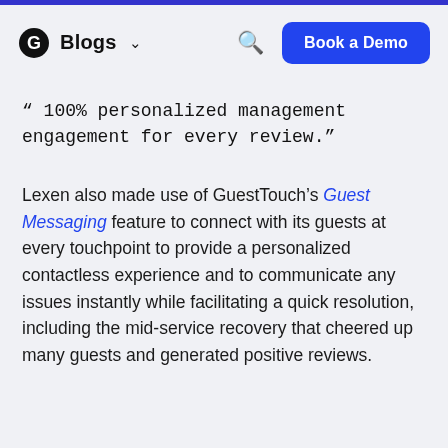Blogs  Book a Demo
" 100% personalized management engagement for every review."
Lexen also made use of GuestTouch's Guest Messaging feature to connect with its guests at every touchpoint to provide a personalized contactless experience and to communicate any issues instantly while facilitating a quick resolution, including the mid-service recovery that cheered up many guests and generated positive reviews.